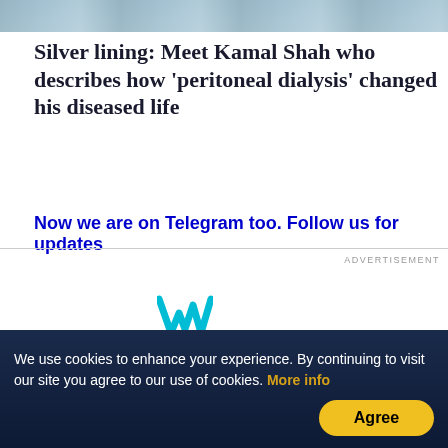[Figure (photo): Partial photo of a person at the top of the page, cropped]
Silver lining: Meet Kamal Shah who describes how 'peritoneal dialysis' changed his diseased life
Now we are on Telegram too. Follow us for updates
ADVERTISEMENT
[Figure (logo): Wearable/W logo icon in cyan/teal color]
We use cookies to enhance your experience. By continuing to visit our site you agree to our use of cookies. More info
Agree